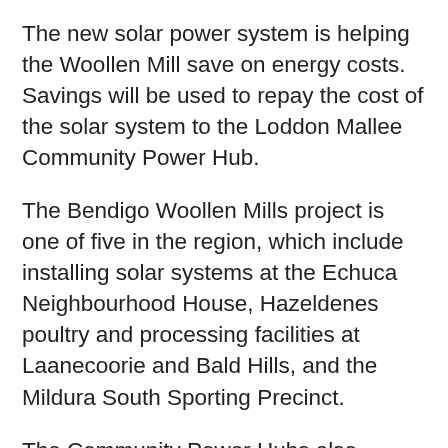The new solar power system is helping the Woollen Mill save on energy costs. Savings will be used to repay the cost of the solar system to the Loddon Mallee Community Power Hub.
The Bendigo Woollen Mills project is one of five in the region, which include installing solar systems at the Echuca Neighbourhood House, Hazeldenes poultry and processing facilities at Laanecoorie and Bald Hills, and the Mildura South Sporting Precinct.
The Community Power Hubs also provide their local communities with advice and ideas about how businesses and community organisations can become more energy…